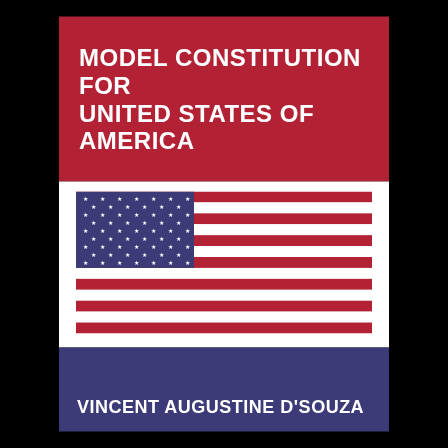MODEL CONSTITUTION FOR UNITED STATES OF AMERICA
[Figure (illustration): United States flag with blue canton bearing white stars on the left and red and white horizontal stripes on the right]
VINCENT AUGUSTINE D'SOUZA